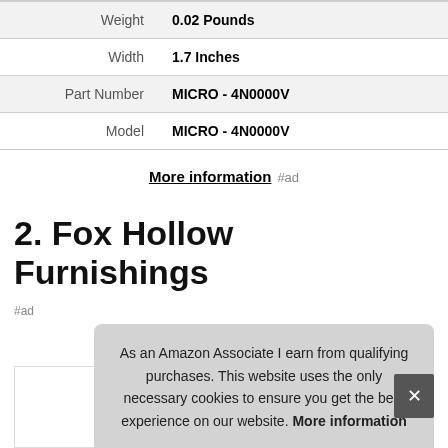| Attribute | Value |
| --- | --- |
| Weight | 0.02 Pounds |
| Width | 1.7 Inches |
| Part Number | MICRO - 4N0000V |
| Model | MICRO - 4N0000V |
More information #ad
2. Fox Hollow Furnishings
#ad
As an Amazon Associate I earn from qualifying purchases. This website uses the only necessary cookies to ensure you get the best experience on our website. More information